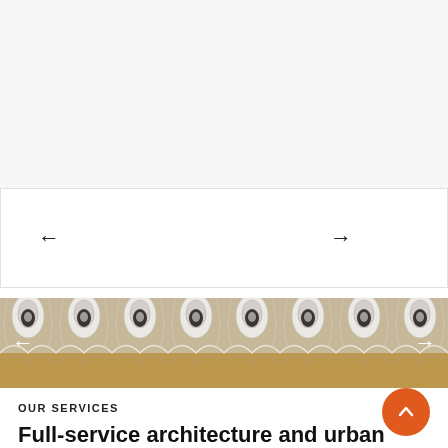[Figure (screenshot): Light gray background area at the top of the page, appears to be a placeholder or empty content section]
[Figure (screenshot): White slider/carousel area with left arrow (←) and right arrow (→) navigation controls]
[Figure (photo): Horizontal image strip showing a repeating ornate architectural pattern in white/silver and gold/brown tones, with left and right arrow navigation overlaid]
OUR SERVICES
Full-service architecture and urban design office.